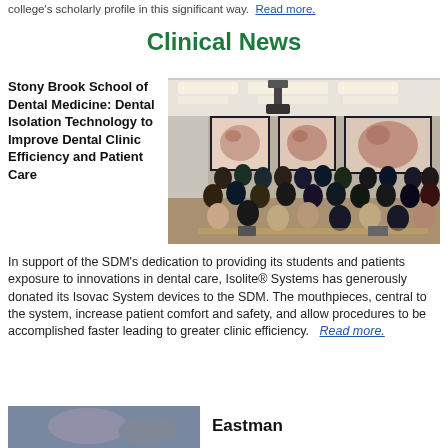college's scholarly profile in this significant way.  Read more.
Clinical News
Stony Brook School of Dental Medicine: Dental Isolation Technology to Improve Dental Clinic Efficiency and Patient Care
[Figure (photo): A lecture hall full of attendees watching large projection screens showing dental procedure imagery. Students and professionals seated at desks with laptops.]
In support of the SDM's dedication to providing its students and patients exposure to innovations in dental care, Isolite® Systems has generously donated its Isovac System devices to the SDM. The mouthpieces, central to the system, increase patient comfort and safety, and allow procedures to be accomplished faster leading to greater clinic efficiency.   Read more.
[Figure (photo): Partial image at bottom left of page]
Eastman